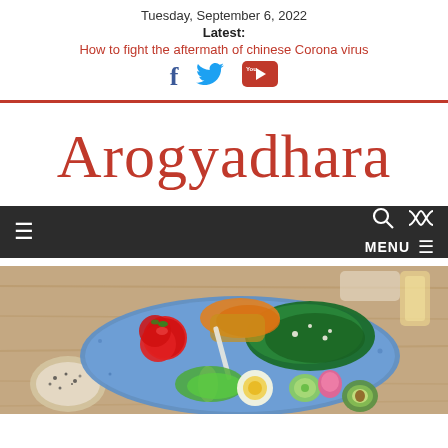Tuesday, September 6, 2022
Latest:
How to fight the aftermath of chinese Corona virus
[Figure (other): Social media icons: Facebook, Twitter, YouTube]
Arogyadhara
[Figure (other): Navigation bar with hamburger menu, search and shuffle icons, and MENU label]
[Figure (photo): Overhead photo of a blue ceramic plate with a colorful salad bowl containing tomatoes, greens, egg, avocado, carrots, cucumber and noodles on a wooden table]